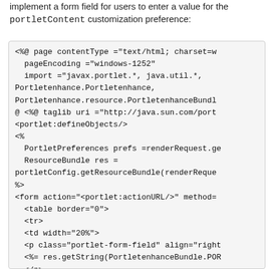implement a form field for users to enter a value for the portletContent customization preference:
[Figure (screenshot): A code block showing JSP source code with portlet page directives, imports, ResourceBundle usage, and HTML form with table structure]